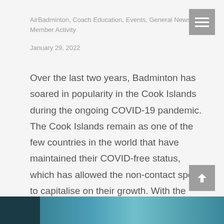AirBadminton, Coach Education, Events, General News, Member Activity
January 29, 2022
Over the last two years, Badminton has soared in popularity in the Cook Islands during the ongoing COVID-19 pandemic. The Cook Islands remain as one of the few countries in the world that have maintained their COVID-free status, which has allowed the non-contact sport to capitalise on their growth. With the quarantine-free travel bubble resuming…
Details ▶
[Figure (photo): Partial bottom image showing a water or outdoor scene in teal/blue tones]